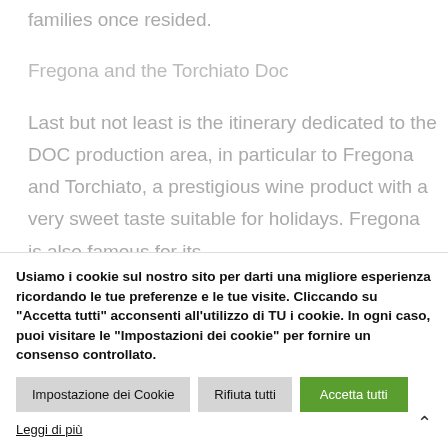families once resided.
Fregona and the Torchiato Doc
Last but not least is the itinerary dedicated to the DOC production area, in particular to Fregona and Torchiato, a prestigious wine product with a very sweet taste suitable for holidays. Fregona is also famous for its
Usiamo i cookie sul nostro sito per darti una migliore esperienza ricordando le tue preferenze e le tue visite. Cliccando su "Accetta tutti" acconsenti all'utilizzo di TU i cookie. In ogni caso, puoi visitare le "Impostazioni dei cookie" per fornire un consenso controllato.
Impostazione dei Cookie
Rifiuta tutti
Accetta tutti
Leggi di più